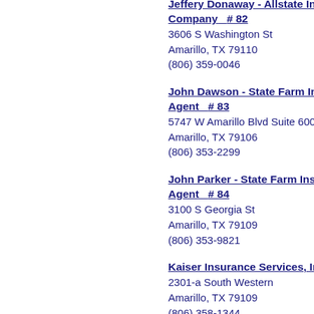Jeffery Donaway - Allstate Insurance Company  # 82
3606 S Washington St
Amarillo, TX 79110
(806) 359-0046
John Dawson - State Farm Insurance Agent  # 83
5747 W Amarillo Blvd Suite 600
Amarillo, TX 79106
(806) 353-2299
John Parker - State Farm Insurance Agent  # 84
3100 S Georgia St
Amarillo, TX 79109
(806) 353-9821
Kaiser Insurance Services, Inc.  #
2301-a South Western
Amarillo, TX 79109
(806) 358-1344
Karen Ohara - Allstate Insurance Company  # 86
3913 Bell St
Amarillo, TX 79109
(806) 355-6898
Katrina Manning - Allstate Insurance Company  # 87